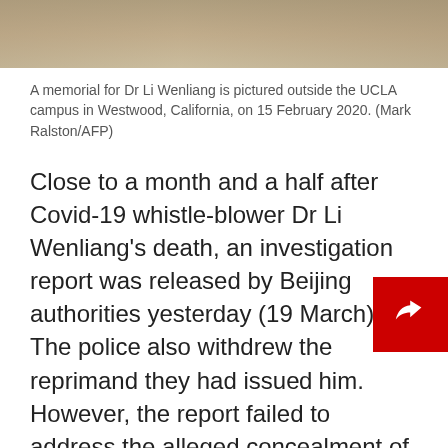[Figure (photo): Top portion of a memorial photo, showing flowers on a beige/tan surface outside the UCLA campus]
A memorial for Dr Li Wenliang is pictured outside the UCLA campus in Westwood, California, on 15 February 2020. (Mark Ralston/AFP)
Close to a month and a half after Covid-19 whistle-blower Dr Li Wenliang’s death, an investigation report was released by Beijing authorities yesterday (19 March). The police also withdrew the reprimand they had issued him. However, the report failed to address the alleged concealment of the outbreak — the issue that people were most concerned with — and merely put the blame on the police station that had punished Li. The Chinese public was greatly disappointed by this outcome and took